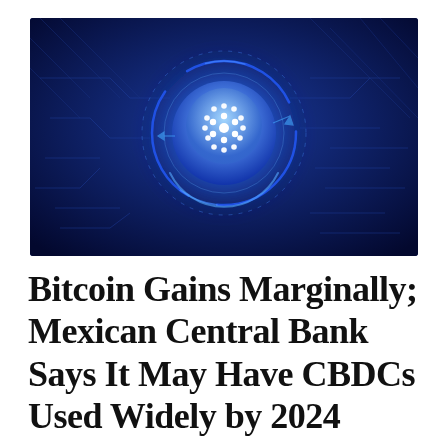[Figure (illustration): Dark blue digital/technology background with glowing blue Cardano cryptocurrency logo (circle with dot pattern) in the center, surrounded by circuit-like lines and ring elements]
Bitcoin Gains Marginally; Mexican Central Bank Says It May Have CBDCs Used Widely by 2024